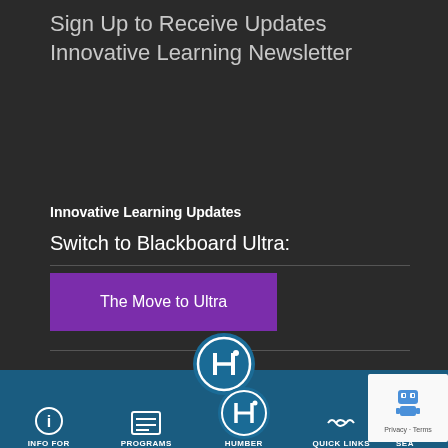Sign Up to Receive Updates Innovative Learning Newsletter
Innovative Learning Updates
Switch to Blackboard Ultra:
The Move to Ultra
[Figure (logo): Humber College circular logo with stylized H and dot]
INFO FOR   PROGRAMS   HUMBER   QUICK LINKS   SEA...